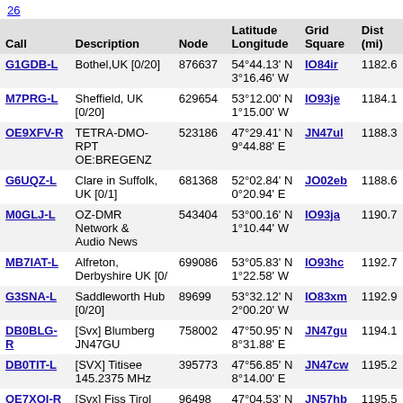26
| Call | Description | Node | Latitude Longitude | Grid Square | Dist (mi) |
| --- | --- | --- | --- | --- | --- |
| G1GDB-L | Bothel,UK [0/20] | 876637 | 54°44.13' N 3°16.46' W | IO84ir | 1182.6 |
| M7PRG-L | Sheffield, UK [0/20] | 629654 | 53°12.00' N 1°15.00' W | IO93je | 1184.1 |
| OE9XFV-R | TETRA-DMO-RPT OE:BREGENZ | 523186 | 47°29.41' N 9°44.88' E | JN47ul | 1188.3 |
| G6UQZ-L | Clare in Suffolk, UK [0/1] | 681368 | 52°02.84' N 0°20.94' E | JO02eb | 1188.6 |
| M0GLJ-L | OZ-DMR Network & Audio News | 543404 | 53°00.16' N 1°10.44' W | IO93ja | 1190.7 |
| MB7IAT-L | Alfreton, Derbyshire UK [0/ | 699086 | 53°05.83' N 1°22.58' W | IO93hc | 1192.7 |
| G3SNA-L | Saddleworth Hub [0/20] | 89699 | 53°32.12' N 2°00.20' W | IO83xm | 1192.9 |
| DB0BLG-R | [Svx] Blumberg JN47GU | 758002 | 47°50.95' N 8°31.88' E | JN47gu | 1194.1 |
| DB0TIT-L | [SVX] Titisee 145.2375 MHz | 395773 | 47°56.85' N 8°14.00' E | JN47cw | 1195.2 |
| OE7XOI-R | [Svx] Fiss Tirol JN57HB | 96498 | 47°04.53' N 10°36.10' E | JN57hb | 1195.5 |